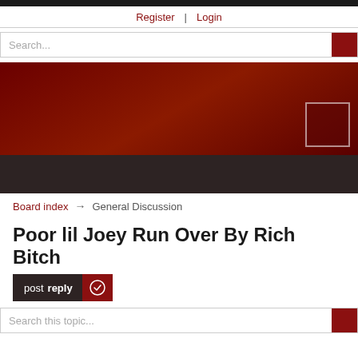Register | Login
[Figure (screenshot): Search input bar with dark red search button on the right]
[Figure (illustration): Dark red gradient banner area with a small outlined box in the lower right corner]
[Figure (screenshot): Dark brown navigation bar]
Board index → General Discussion
Poor lil Joey Run Over By Rich Bitch
post reply
[Figure (screenshot): Search this topic input bar with dark red search button on the right]